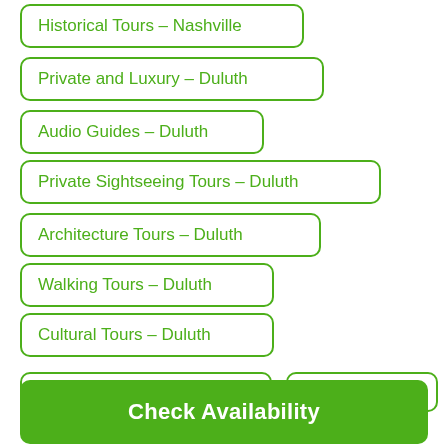Historical Tours - Nashville
Private and Luxury - Duluth
Audio Guides - Duluth
Private Sightseeing Tours - Duluth
Architecture Tours - Duluth
Walking Tours - Duluth
Cultural Tours - Duluth
Check Availability